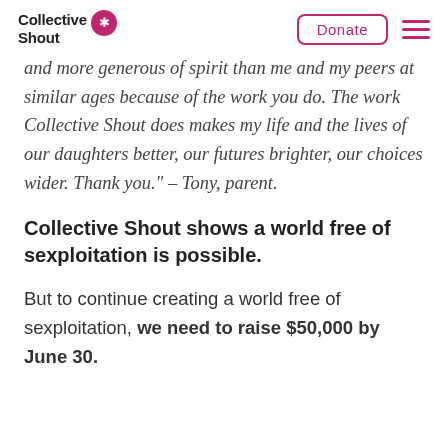Collective Shout | Donate
and more generous of spirit than me and my peers at similar ages because of the work you do. The work Collective Shout does makes my life and the lives of our daughters better, our futures brighter, our choices wider. Thank you." – Tony, parent.
Collective Shout shows a world free of sexploitation is possible.
But to continue creating a world free of sexploitation, we need to raise $50,000 by June 30.